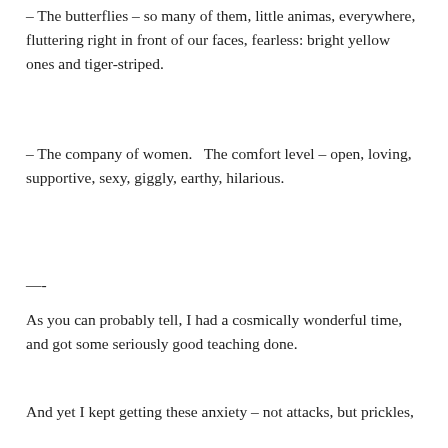– The butterflies – so many of them, little animas, everywhere, fluttering right in front of our faces, fearless: bright yellow ones and tiger-striped.
– The company of women.   The comfort level – open, loving, supportive, sexy, giggly, earthy, hilarious.
—-
As you can probably tell, I had a cosmically wonderful time, and got some seriously good teaching done.
And yet I kept getting these anxiety – not attacks, but prickles,